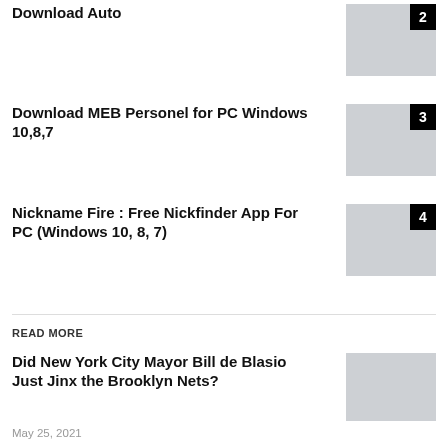Download Auto
Download MEB Personel for PC Windows 10,8,7
Nickname Fire : Free Nickfinder App For PC (Windows 10, 8, 7)
READ MORE
Did New York City Mayor Bill de Blasio Just Jinx the Brooklyn Nets?
May 25, 2021